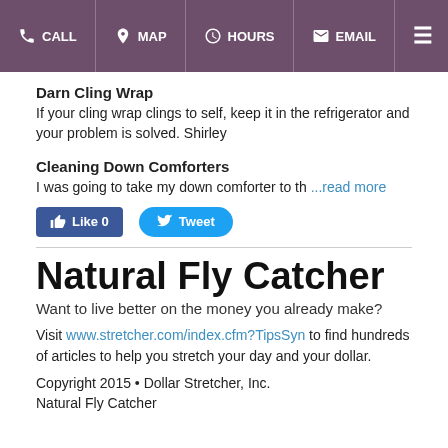CALL  MAP  HOURS  EMAIL
Darn Cling Wrap
If your cling wrap clings to self, keep it in the refrigerator and your problem is solved. Shirley
Cleaning Down Comforters
I was going to take my down comforter to th ...read more
[Figure (other): Facebook Like button (0) and Twitter Tweet button]
Natural Fly Catcher
Want to live better on the money you already make?
Visit www.stretcher.com/index.cfm?TipsSyn to find hundreds of articles to help you stretch your day and your dollar.
Copyright 2015 • Dollar Stretcher, Inc.
Natural Fly Catcher